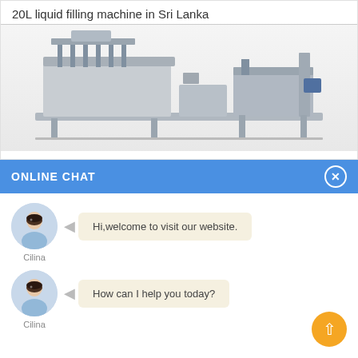20L liquid filling machine in Sri Lanka
[Figure (photo): Photo of a 20L liquid filling machine — a large industrial stainless steel automated liquid filling and capping line with multiple filling heads and conveyor system.]
ONLINE CHAT
Hi,welcome to visit our website.
Cilina
How can I help you today?
Cilina